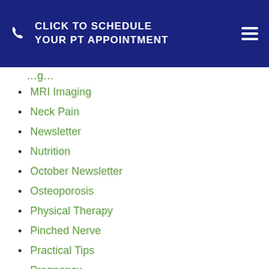CLICK TO SCHEDULE YOUR PT APPOINTMENT
MRI Imaging
Neck Pain
Newsletter
Nutrition
October Newsletter
Osteoporosis
Physical Therapy
Pinched Nerve
Practical Tips
Pregnancy
Resources
Running
Sciatica
Shoulder Pain